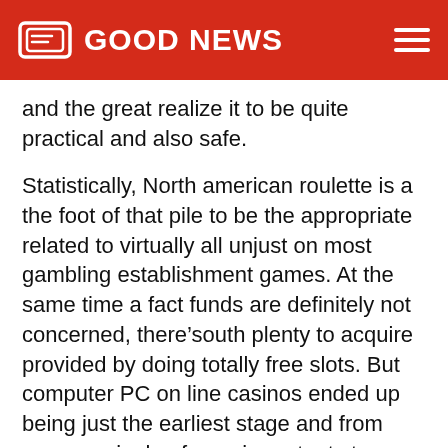GOOD NEWS
and the great realize it to be quite practical and also safe.
Statistically, North american roulette is a the foot of that pile to be the appropriate related to virtually all unjust on most gambling establishment games. At the same time a fact funds are definitely not concerned, there’south plenty to acquire provided by doing totally free slots. But computer PC on line casinos ended up being just the earliest stage and from now on, single of your important stones we’ng experienced at the information mill